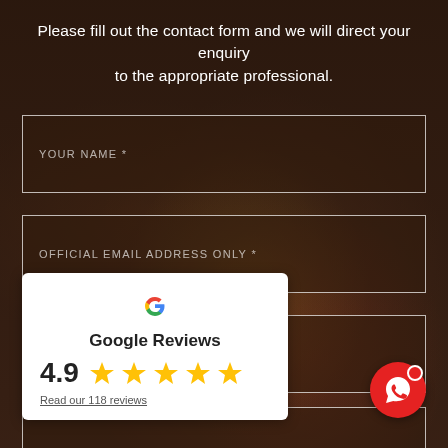Please fill out the contact form and we will direct your enquiry to the appropriate professional.
YOUR NAME *
OFFICIAL EMAIL ADDRESS ONLY *
YOUR PHONE *
[Figure (infographic): Google Reviews widget showing 4.9 star rating with 5 gold stars and a link to read 118 reviews]
[Figure (infographic): Red circular WhatsApp chat button in bottom right corner]